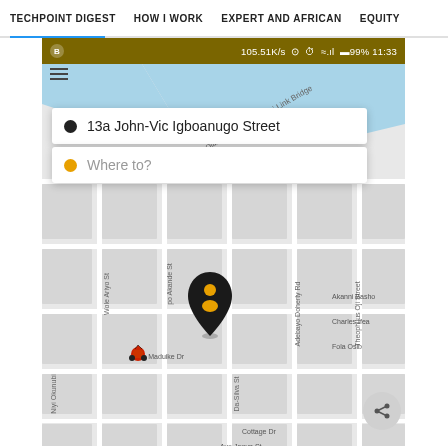TECHPOINT DIGEST   HOW I WORK   EXPERT AND AFRICAN   EQUITY
[Figure (screenshot): Mobile app screenshot showing a ride-hailing app (Bolt/similar) with a map of Lagos, Nigeria. Status bar shows 105.51K/s, 99% battery, 11:33. Two search fields: '13a John-Vic Igboanugo Street' (origin) and 'Where to?' (destination). Map shows streets including Ikoyi Link Bridge, Wole Ariyo St, Da-Silva St, Chris Maduike Dr, Cottage Dr, Ayo Jagun St, Akanni Basho, Charles Ifea, Fola Osib, Theophilus Oji Street, Adebayo Doherty Rd, Niyi Okunubi. A location pin with a person icon is visible on the map, and a motorcycle icon nearby.]